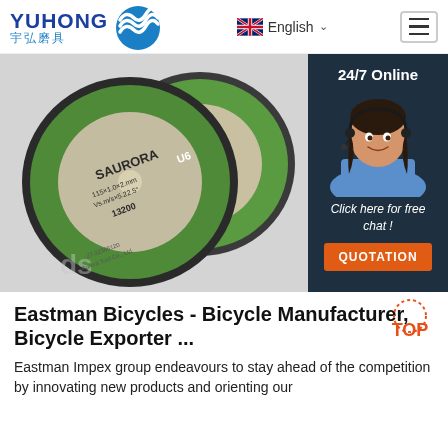YUHONG 宇弘磨具 | English | Menu
[Figure (photo): Photo of abrasive cutting discs (SAURORA brand) on a white background. An overlay chat widget on the right shows '24/7 Online', a customer service agent, 'Click here for free chat!', and an orange QUOTATION button.]
Eastman Bicycles - Bicycle Manufacturer, Bicycle Exporter ...
Eastman Impex group endeavours to stay ahead of the competition by innovating new products and orienting our